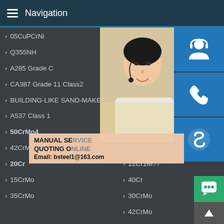Navigation
05CuPCrNi
Q355NH
A285 Grade C
CA387 Grade 11 Class2
BUILDING-LIKE SAND-MAKER
A537 Class 1
50CrMo4
42CrMo4
20Cr
15CrMo
35CrMo
Q355
A204
A387
A387
A387
A516
P235
51CrMo
12Cr1MoV
40Cr
30CrMo
42CrMo
[Figure (photo): Customer service representative woman with headset]
[Figure (infographic): Contact icons: headset/support, phone call, Skype]
MANUAL SE... QUOTING O... Email: bsteel1@163.com